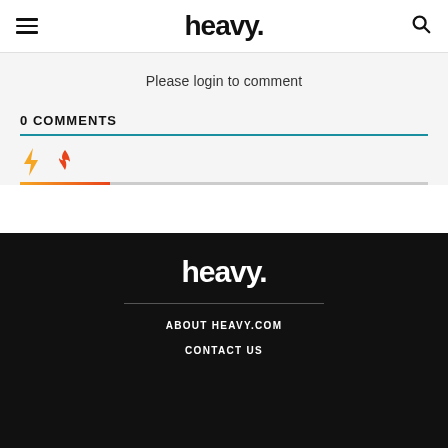heavy.
Please login to comment
0 COMMENTS
heavy. | ABOUT HEAVY.COM | CONTACT US